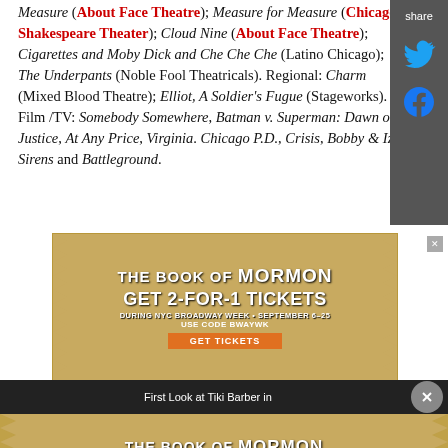Measure (About Face Theatre); Measure for Measure (Chicago Shakespeare Theater); Cloud Nine (About Face Theatre); Cigarettes and Moby Dick and Che Che Che (Latino Chicago); The Underpants (Noble Fool Theatricals). Regional: Charm (Mixed Blood Theatre); Elliot, A Soldier's Fugue (Stageworks). Film /TV: Somebody Somewhere, Batman v. Superman: Dawn of Justice, At Any Price, Virginia. Chicago P.D., Crisis, Bobby & Iza, Sirens and Battleground.
[Figure (other): Share sidebar with Twitter and Facebook icons on dark grey background]
[Figure (other): Advertisement for The Book of Mormon - Get 2-for-1 Tickets during NYC Broadway Week September 6-25, use code BWAYWK]
[Figure (other): Notification bar: First Look at Tiki Barber in, with close button]
[Figure (other): Second advertisement for The Book of Mormon - Get 2-for-1 Tickets during NYC Broadway Week September 6-25, use code BWAYWK, with Get Tickets button]